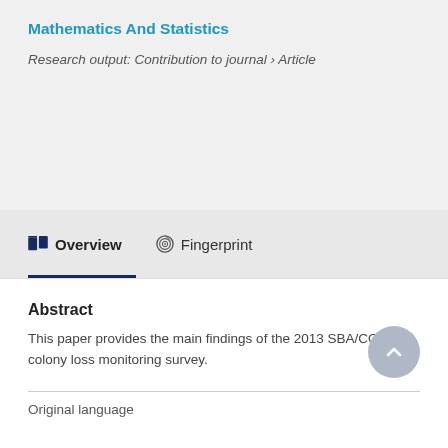Mathematics And Statistics
Research output: Contribution to journal › Article
Overview
Fingerprint
Abstract
This paper provides the main findings of the 2013 SBA/COLOSS colony loss monitoring survey.
Original language